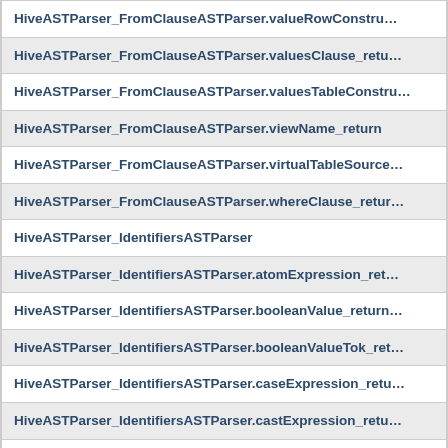HiveASTParser_FromClauseASTParser.valueRowConstru…
HiveASTParser_FromClauseASTParser.valuesClause_retu…
HiveASTParser_FromClauseASTParser.valuesTableConstru…
HiveASTParser_FromClauseASTParser.viewName_return
HiveASTParser_FromClauseASTParser.virtualTableSource…
HiveASTParser_FromClauseASTParser.whereClause_retur…
HiveASTParser_IdentifiersASTParser
HiveASTParser_IdentifiersASTParser.atomExpression_ret…
HiveASTParser_IdentifiersASTParser.booleanValue_return…
HiveASTParser_IdentifiersASTParser.booleanValueTok_ret…
HiveASTParser_IdentifiersASTParser.caseExpression_retu…
HiveASTParser_IdentifiersASTParser.castExpression_retu…
HiveASTParser_IdentifiersASTParser.charSetStringLiteral…
HiveASTParser_IdentifiersASTParser.clusterByClause_retu…
HiveASTParser_IdentifiersASTParser.columnRefOrderInPa…